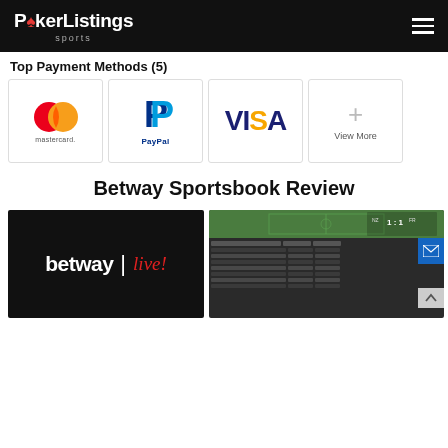PokerListings sports
Top Payment Methods (5)
[Figure (infographic): Payment method icons: Mastercard, PayPal, Visa, and a View More (+) button]
Betway Sportsbook Review
[Figure (screenshot): Betway Live! logo on black background]
[Figure (screenshot): Betway sportsbook interface showing a live football match and betting odds table]